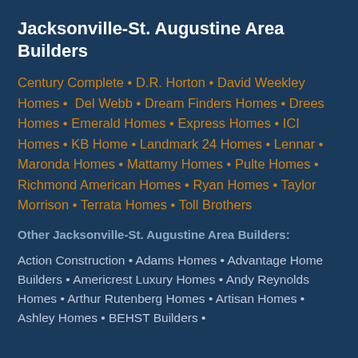Jacksonville-St. Augustine Area Builders
Century Complete • D.R. Horton • David Weekley Homes •  Del Webb • Dream Finders Homes • Drees Homes • Emerald Homes • Express Homes • ICI Homes • KB Home • Landmark 24 Homes • Lennar • Maronda Homes • Mattamy Homes • Pulte Homes • Richmond American Homes • Ryan Homes • Taylor Morrison • Terrata Homes • Toll Brothers
Other Jacksonville-St. Augustine Area Builders:
Action Construction • Adams Homes • Advantage Home Builders • Americrest Luxury Homes • Andy Reynolds Homes • Arthur Rutenberg Homes • Artisan Homes • Ashley Homes • BEHST Builders •